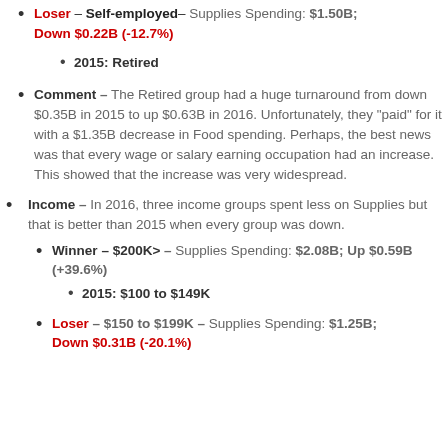Loser – Self-employed– Supplies Spending: $1.50B; Down $0.22B (-12.7%)
2015: Retired
Comment – The Retired group had a huge turnaround from down $0.35B in 2015 to up $0.63B in 2016. Unfortunately, they "paid" for it with a $1.35B decrease in Food spending. Perhaps, the best news was that every wage or salary earning occupation had an increase. This showed that the increase was very widespread.
Income – In 2016, three income groups spent less on Supplies but that is better than 2015 when every group was down.
Winner – $200K> – Supplies Spending: $2.08B; Up $0.59B (+39.6%)
2015: $100 to $149K
Loser – $150 to $199K – Supplies Spending: $1.25B; Down $0.31B (-20.1%)